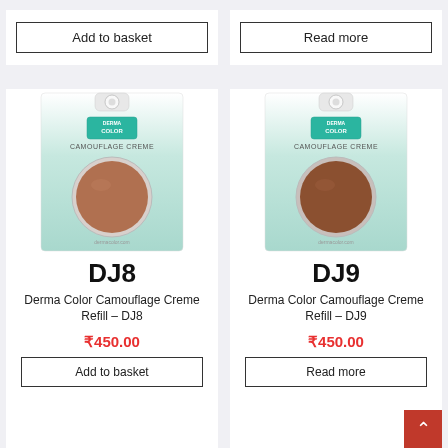[Figure (other): Add to basket button for previous product (top of card)]
[Figure (other): Read more button for previous product (top of card)]
[Figure (photo): Derma Color Camouflage Creme Refill DJ8 product package showing a round brown makeup compact on a mint-green card with Derma Color logo and CAMOUFLAGE CREME text]
DJ8
Derma Color Camouflage Creme Refill – DJ8
₹450.00
[Figure (other): Add to basket button for DJ8]
[Figure (photo): Derma Color Camouflage Creme Refill DJ9 product package showing a round darker brown makeup compact on a mint-green card with Derma Color logo and CAMOUFLAGE CREME text]
DJ9
Derma Color Camouflage Creme Refill – DJ9
₹450.00
[Figure (other): Read more button for DJ9]